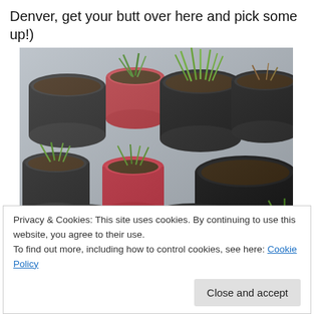Denver, get your butt over here and pick some up!)
[Figure (photo): Multiple plastic pots and cups containing seedlings and plants with soil, viewed from above. Some pots have green sprouts/grass-like plants growing, others have dry brown plant material, arranged in a cluster.]
Privacy & Cookies: This site uses cookies. By continuing to use this website, you agree to their use.
To find out more, including how to control cookies, see here: Cookie Policy